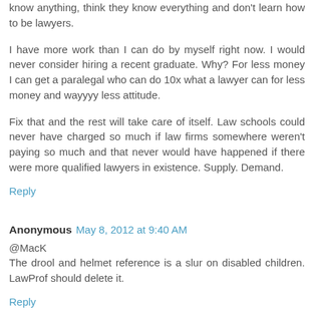know anything, think they know everything and don't learn how to be lawyers.
I have more work than I can do by myself right now. I would never consider hiring a recent graduate. Why? For less money I can get a paralegal who can do 10x what a lawyer can for less money and wayyyy less attitude.
Fix that and the rest will take care of itself. Law schools could never have charged so much if law firms somewhere weren't paying so much and that never would have happened if there were more qualified lawyers in existence. Supply. Demand.
Reply
Anonymous May 8, 2012 at 9:40 AM
@MacK
The drool and helmet reference is a slur on disabled children. LawProf should delete it.
Reply